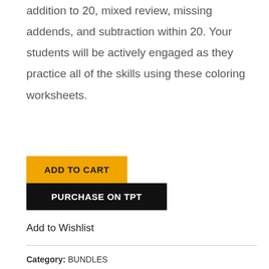addition to 20, mixed review, missing addends, and subtraction within 20. Your students will be actively engaged as they practice all of the skills using these coloring worksheets.
ADD TO CART
PURCHASE ON TPT
Add to Wishlist
Category: BUNDLES